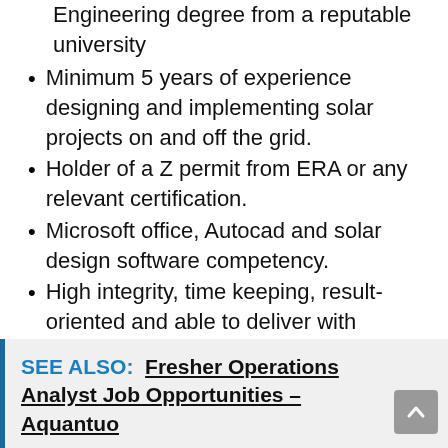Engineering degree from a reputable university
Minimum 5 years of experience designing and implementing solar projects on and off the grid.
Holder of a Z permit from ERA or any relevant certification.
Microsoft office, Autocad and solar design software competency.
High integrity, time keeping, result-oriented and able to deliver with minimum input and supervision.
Only Ugandan Nationals are encouraged to apply.
SEE ALSO:  Fresher Operations Analyst Job Opportunities – Aquantuo